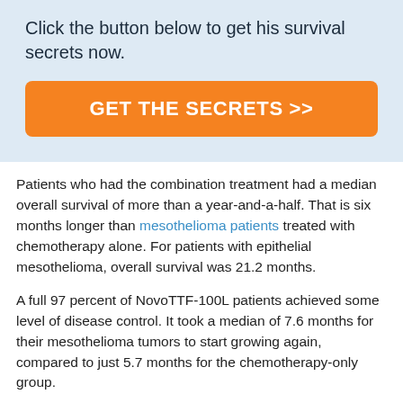Click the button below to get his survival secrets now.
[Figure (other): Orange call-to-action button with text: GET THE SECRETS >>]
Patients who had the combination treatment had a median overall survival of more than a year-and-a-half. That is six months longer than mesothelioma patients treated with chemotherapy alone. For patients with epithelial mesothelioma, overall survival was 21.2 months.
A full 97 percent of NovoTTF-100L patients achieved some level of disease control. It took a median of 7.6 months for their mesothelioma tumors to start growing again, compared to just 5.7 months for the chemotherapy-only group.
The technology did not appear to cause any serious side effects. Based on these findings, the FDA granted the NovoTTF-100L